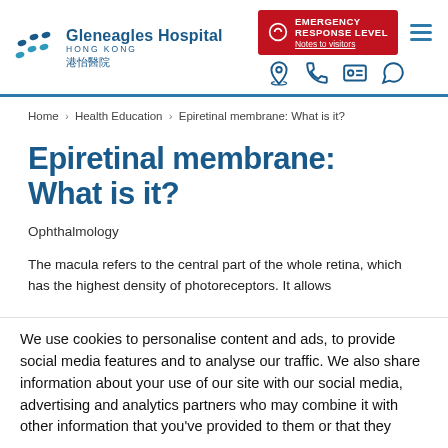[Figure (logo): Gleneagles Hospital Hong Kong logo with elliptical dots icon and hospital name in English and Chinese]
[Figure (infographic): Emergency Response Level red banner with mask icon and 'Notes to visitors' link]
[Figure (infographic): Navigation icons: location pin, phone, ID card, WhatsApp]
Home > Health Education > Epiretinal membrane: What is it?
Epiretinal membrane: What is it?
Ophthalmology
The macula refers to the central part of the whole retina, which has the highest density of photoreceptors. It allows
We use cookies to personalise content and ads, to provide social media features and to analyse our traffic. We also share information about your use of our site with our social media, advertising and analytics partners who may combine it with other information that you've provided to them or that they